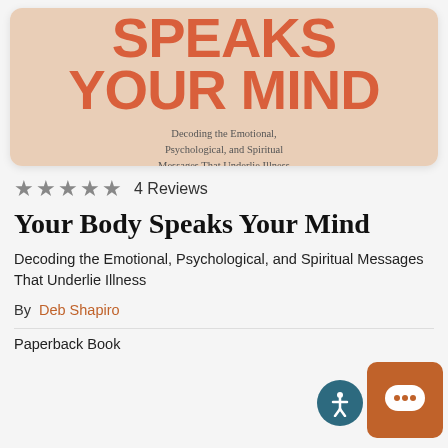[Figure (photo): Book cover of 'Your Body Speaks Your Mind' by Deb Shapiro showing torso with large orange text 'SPEAKS YOUR MIND' and subtitle 'Decoding the Emotional, Psychological, and Spiritual Messages That Underlie Illness']
★★★★★ 4 Reviews
Your Body Speaks Your Mind
Decoding the Emotional, Psychological, and Spiritual Messages That Underlie Illness
By Deb Shapiro
Paperback Book